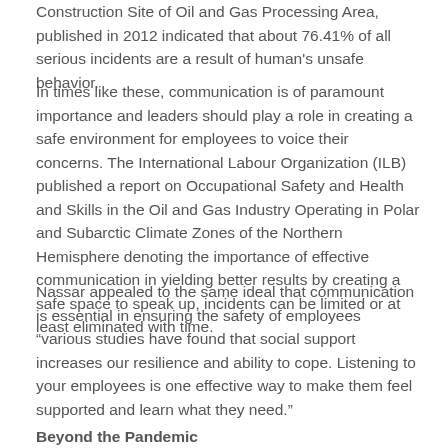Construction Site of Oil and Gas Processing Area, published in 2012 indicated that about 76.41% of all serious incidents are a result of human's unsafe behavior.
In times like these, communication is of paramount importance and leaders should play a role in creating a safe environment for employees to voice their concerns. The International Labour Organization (ILB) published a report on Occupational Safety and Health and Skills in the Oil and Gas Industry Operating in Polar and Subarctic Climate Zones of the Northern Hemisphere denoting the importance of effective communication in yielding better results by creating a safe space to speak up, incidents can be limited or at least eliminated with time.
Nassar appealed to the same ideal that communication is essential in ensuring the safety of employees "various studies have found that social support increases our resilience and ability to cope. Listening to your employees is one effective way to make them feel supported and learn what they need."
Beyond the Pandemic